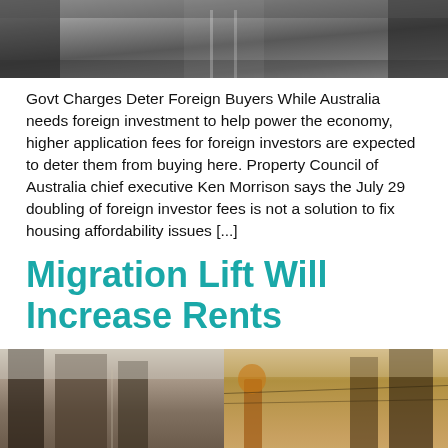[Figure (photo): Black and white photo of a wide urban street or tram corridor, viewed from above, receding into the distance with people visible on the sides.]
Govt Charges Deter Foreign Buyers While Australia needs foreign investment to help power the economy, higher application fees for foreign investors are expected to deter them from buying here. Property Council of Australia chief executive Ken Morrison says the July 29 doubling of foreign investor fees is not a solution to fix housing affordability issues [...]
Migration Lift Will Increase Rents
[Figure (photo): Two side-by-side colour photographs of urban city streets with tall buildings; left image shows a narrow city street, right image shows a busy pedestrian shopping street with autumn trees and signage including 'SRP40'.]